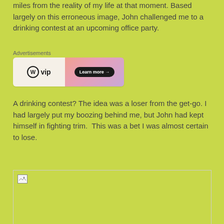miles from the reality of my life at that moment. Based largely on this erroneous image, John challenged me to a drinking contest at an upcoming office party.
[Figure (other): WordPress VIP advertisement banner with 'Learn more' button]
A drinking contest? The idea was a loser from the get-go. I had largely put my boozing behind me, but John had kept himself in fighting trim.  This was a bet I was almost certain to lose.
[Figure (photo): Broken image placeholder with image icon in upper left corner]